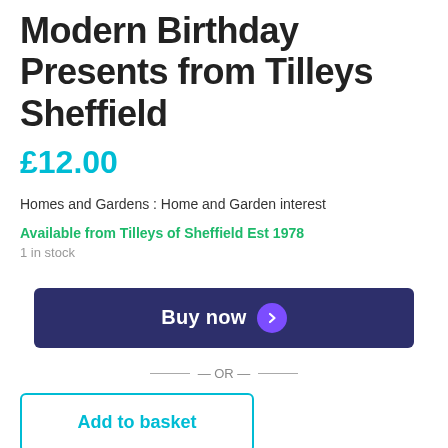Modern Birthday Presents from Tilleys Sheffield
£12.00
Homes and Gardens : Home and Garden interest
Available from Tilleys of Sheffield Est 1978
1 in stock
[Figure (other): Buy now button with dark navy background and purple arrow circle]
— OR —
[Figure (other): Add to basket button with cyan border and text]